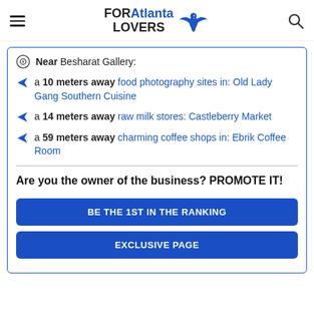FORAtlanta LOVERS
Near Besharat Gallery:
a 10 meters away food photography sites in: Old Lady Gang Southern Cuisine
a 14 meters away raw milk stores: Castleberry Market
a 59 meters away charming coffee shops in: Ebrik Coffee Room
Are you the owner of the business? PROMOTE IT!
BE THE 1ST IN THE RANKING
EXCLUSIVE PAGE